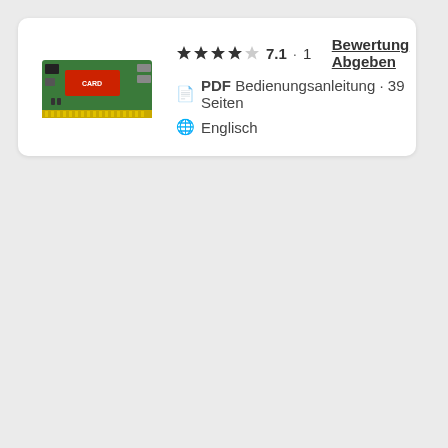[Figure (photo): Photo of a green PCIe graphics/capture card with red components and connectors]
★★★★☆ 7.1 · 1  Bewertung Abgeben
PDF Bedienungsanleitung · 39 Seiten
Englisch